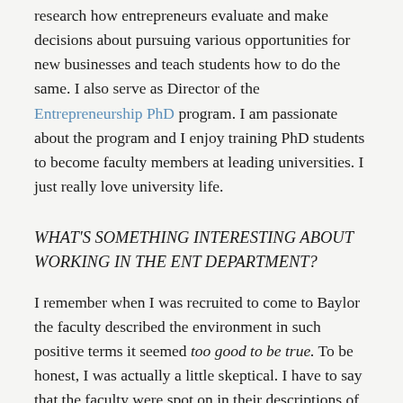research how entrepreneurs evaluate and make decisions about pursuing various opportunities for new businesses and teach students how to do the same. I also serve as Director of the Entrepreneurship PhD program. I am passionate about the program and I enjoy training PhD students to become faculty members at leading universities. I just really love university life.
WHAT'S SOMETHING INTERESTING ABOUT WORKING IN THE ENT DEPARTMENT?
I remember when I was recruited to come to Baylor the faculty described the environment in such positive terms it seemed too good to be true. To be honest, I was actually a little skeptical. I have to say that the faculty were spot on in their descriptions of life at Baylor. It's an amazing place. I am continually impressed by the talent and work ethic of my